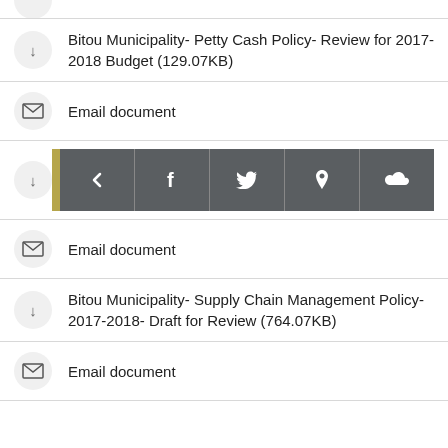Bitou Municipality- Petty Cash Policy- Review for 2017-2018 Budget (129.07KB)
Email document
[Figure (screenshot): Social sharing toolbar with back arrow, Facebook, Twitter, location pin, and cloud icons on dark grey background with gold left accent bar]
Email document
Bitou Municipality- Supply Chain Management Policy- 2017-2018- Draft for Review (764.07KB)
Email document